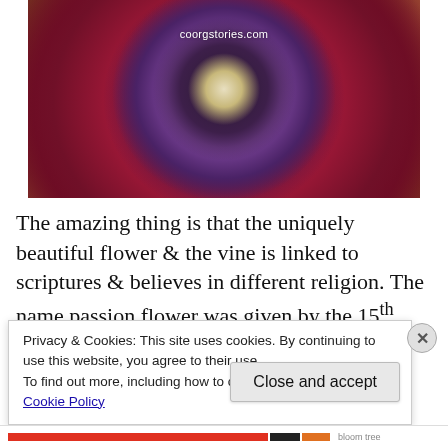[Figure (photo): Close-up photograph of a passion flower with deep red/pink petals, purple and white intricate corona filaments, and a central white stamen structure, placed on a wooden surface. Watermark text 'coorgstories.com' visible.]
The amazing thing is that the uniquely beautiful flower & the vine is linked to scriptures & believes in different religion. The name passion flower was given by the 15th
Privacy & Cookies: This site uses cookies. By continuing to use this website, you agree to their use.
To find out more, including how to control cookies, see here: Cookie Policy
Close and accept